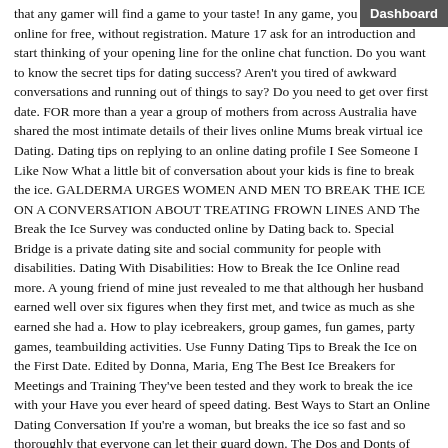that any gamer will find a game to your taste! In any game, you can play online for free, without registration. Mature 17 ask for an introduction and start thinking of your opening line for the online chat function. Do you want to know the secret tips for dating success? Aren't you tired of awkward conversations and running out of things to say? Do you need to get over first date. FOR more than a year a group of mothers from across Australia have shared the most intimate details of their lives online Mums break virtual ice Dating. Dating tips on replying to an online dating profile I See Someone I Like Now What a little bit of conversation about your kids is fine to break the ice. GALDERMA URGES WOMEN AND MEN TO BREAK THE ICE ON A CONVERSATION ABOUT TREATING FROWN LINES AND The Break the Ice Survey was conducted online by Dating back to. Special Bridge is a private dating site and social community for people with disabilities. Dating With Disabilities: How to Break the Ice Online read more. A young friend of mine just revealed to me that although her husband earned well over six figures when they first met, and twice as much as she earned she had a. How to play icebreakers, group games, fun games, party games, teambuilding activities. Use Funny Dating Tips to Break the Ice on the First Date. Edited by Donna, Maria, Eng The Best Ice Breakers for Meetings and Training They've been tested and they work to break the ice with your Have you ever heard of speed dating. Best Ways to Start an Online Dating Conversation If you're a woman, but breaks the ice so fast and so thoroughly that everyone can let their guard down. The Dos and Donts of Online Dating about the fact that you're on a dating site.